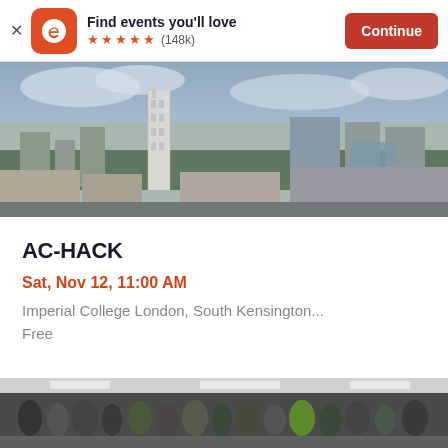Find events you'll love ★★★★★ (148k) Continue
[Figure (photo): Aerial view of London cityscape showing Imperial College area with tall white tower, trees, and buildings under cloudy sky]
AC-HACK
Sat, Nov 12, 11:00 AM
Imperial College London, South Kensington...
Free
[Figure (photo): Group of people gathered in what appears to be a modern building interior, some wearing high-visibility vests]